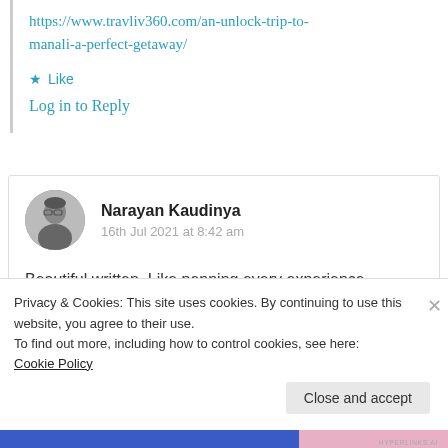https://www.travliv360.com/an-unlock-trip-to-manali-a-perfect-getaway/
★ Like
Log in to Reply
[Figure (photo): Circular avatar photo of Narayan Kaudinya, a person wearing glasses, black and white photo]
Narayan Kaudinya
16th Jul 2021 at 8:42 am
Beautiful written. Like penning every experience.
Privacy & Cookies: This site uses cookies. By continuing to use this website, you agree to their use.
To find out more, including how to control cookies, see here: Cookie Policy
Close and accept